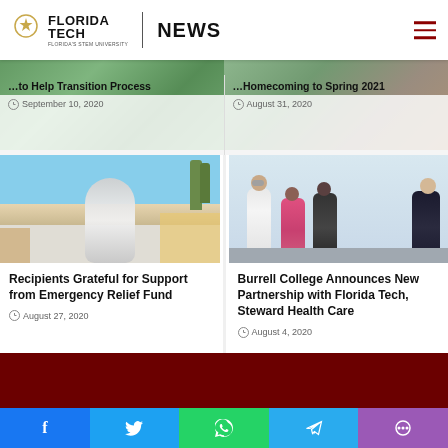Florida Tech NEWS
to Help Transition Process
September 10, 2020
Homecoming to Spring 2021
August 31, 2020
[Figure (photo): Florida Tech campus sculpture with palm trees and blue sky]
Recipients Grateful for Support from Emergency Relief Fund
August 27, 2020
[Figure (photo): Burrell College students and instructor in lab setting wearing masks]
Burrell College Announces New Partnership with Florida Tech, Steward Health Care
August 4, 2020
Facebook Twitter WhatsApp Telegram Share